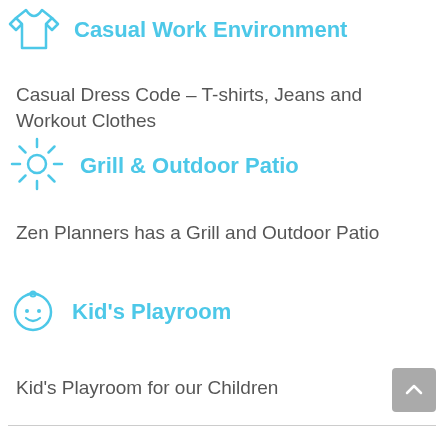Casual Work Environment
Casual Dress Code – T-shirts, Jeans and Workout Clothes
Grill & Outdoor Patio
Zen Planners has a Grill and Outdoor Patio
Kid's Playroom
Kid's Playroom for our Children